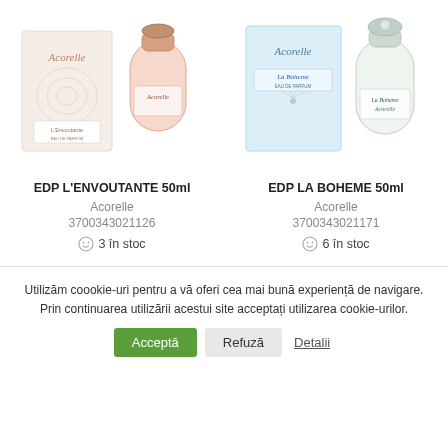[Figure (photo): Acorelle EDP L'Envoutante 50ml product photo showing box and perfume bottle]
[Figure (photo): Acorelle EDP La Boheme 50ml product photo showing box and perfume bottle]
EDP L'ENVOUTANTE 50ml
Acorelle
3700343021126
3 în stoc
EDP LA BOHEME 50ml
Acorelle
3700343021171
6 în stoc
Utilizăm coookie-uri pentru a vă oferi cea mai bună experiență de navigare. Prin continuarea utilizării acestui site acceptați utilizarea cookie-urilor.